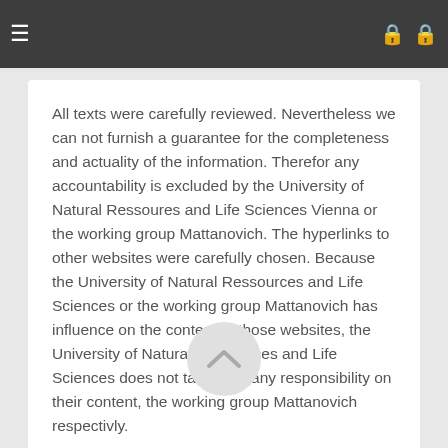Navigation bar with hamburger menu and lock icons
All texts were carefully reviewed. Nevertheless we can not furnish a guarantee for the completeness and actuality of the information. Therefor any accountability is excluded by the University of Natural Ressoures and Life Sciences Vienna or the working group Mattanovich. The hyperlinks to other websites were carefully chosen. Because the University of Natural Ressources and Life Sciences or the working group Mattanovich has influence on the content of those websites, the University of Natural Ressources and Life Sciences does not take over any responsibility on their content, the working group Mattanovich respectivly.
[Figure (other): Back to top button - circular arrow up icon]